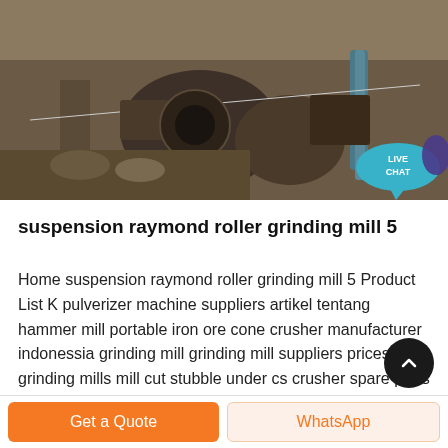[Figure (photo): Aerial/overhead photo of industrial mining or grinding mill equipment — large metal machinery, conveyors, and heavy equipment visible outdoors. A 'LIVE CHAT' speech bubble overlay appears in the lower-right of the image.]
suspension raymond roller grinding mill 5
Home suspension raymond roller grinding mill 5 Product List K pulverizer machine suppliers artikel tentang hammer mill portable iron ore cone crusher manufacturer indonessia grinding mill grinding mill suppliers prices for grinding mills mill cut stubble under cs crusher spare parts roller crusher for feldspar coal jaw